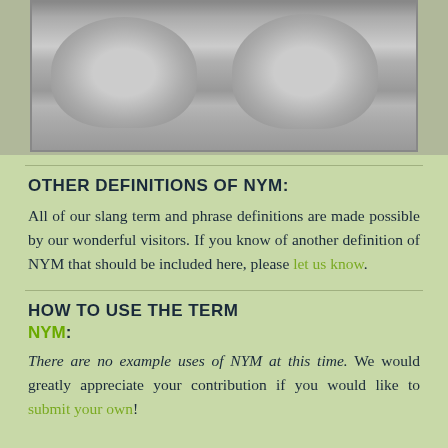[Figure (photo): Black and white photograph of two fluffy sheep viewed from behind]
OTHER DEFINITIONS OF NYM:
All of our slang term and phrase definitions are made possible by our wonderful visitors. If you know of another definition of NYM that should be included here, please let us know.
HOW TO USE THE TERM NYM:
There are no example uses of NYM at this time. We would greatly appreciate your contribution if you would like to submit your own!